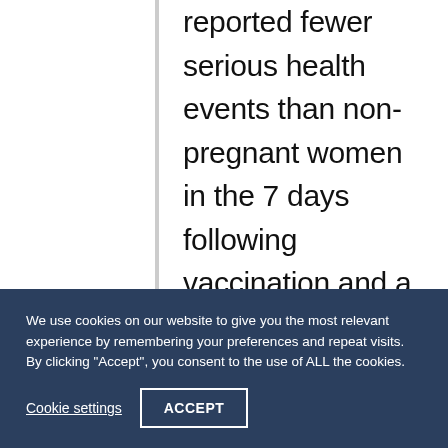reported fewer serious health events than non-pregnant women in the 7 days following vaccination and a similar number of events as a control group of unvaccinated pregnant respondents, as researchers led by Manish Sadarangani, DPhil, of the BC Children's Hospital Research Institute in Vancouver reported
We use cookies on our website to give you the most relevant experience by remembering your preferences and repeat visits. By clicking "Accept", you consent to the use of ALL the cookies.